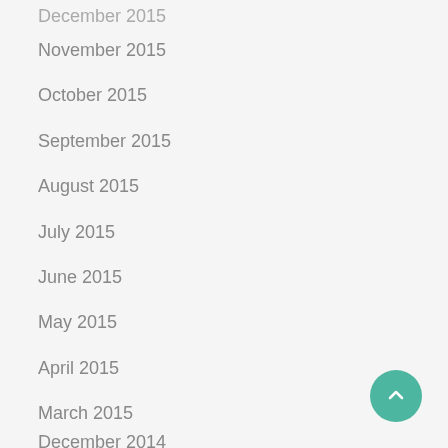December 2015 (partially visible, clipped top)
November 2015
October 2015
September 2015
August 2015
July 2015
June 2015
May 2015
April 2015
March 2015
February 2015
January 2015
December 2014 (partially visible, clipped bottom)